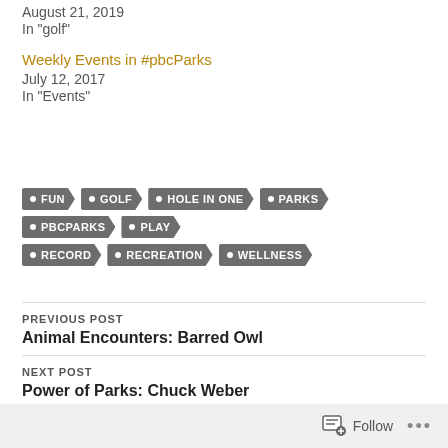August 21, 2019
In "golf"
Weekly Events in #pbcParks
July 12, 2017
In "Events"
FUN
GOLF
HOLE IN ONE
PARKS
PBCPARKS
PLAY
RECORD
RECREATION
WELLNESS
PREVIOUS POST
Animal Encounters: Barred Owl
NEXT POST
Power of Parks: Chuck Weber
Follow